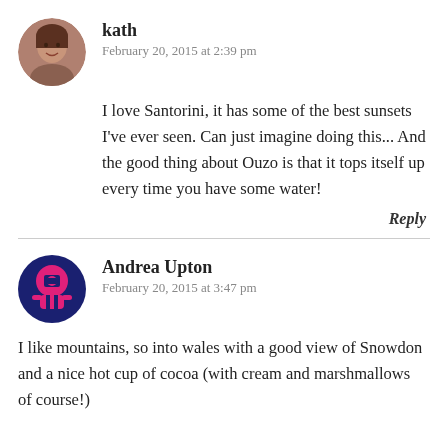[Figure (illustration): Circular avatar photo of a woman named kath]
kath
February 20, 2015 at 2:39 pm
I love Santorini, it has some of the best sunsets I've ever seen. Can just imagine doing this... And the good thing about Ouzo is that it tops itself up every time you have some water!
Reply
[Figure (illustration): Circular avatar icon for Andrea Upton with pink and dark blue design]
Andrea Upton
February 20, 2015 at 3:47 pm
I like mountains, so into wales with a good view of Snowdon and a nice hot cup of cocoa (with cream and marshmallows of course!)